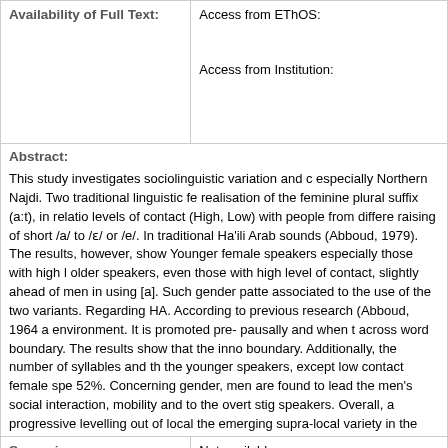| Availability of Full Text: |  |
| --- | --- |
| Availability of Full Text: | Access from EThOS:

Access from Institution: |
| Abstract: | This study investigates sociolinguistic variation and c especially Northern Najdi. Two traditional linguistic fe realisation of the feminine plural suffix (a:t), in relatio levels of contact (High, Low) with people from differe raising of short /a/ to /ɛ/ or /e/. In traditional Ha'ili Aral sounds (Abboud, 1979). The results, however, show Younger female speakers especially those with high l older speakers, even those with high level of contact, slightly ahead of men in using [a]. Such gender patte associated to the use of the two variants. Regarding HA. According to previous research (Abboud, 1964 a environment. It is promoted pre- pausally and when t across word boundary. The results show that the inno boundary. Additionally, the number of syllables and th the younger speakers, except low contact female spe 52%. Concerning gender, men are found to lead the men's social interaction, mobility and to the overt stig speakers. Overall, a progressive levelling out of local the emerging supra-local variety in the central region |
| Supervisor: | Not available |